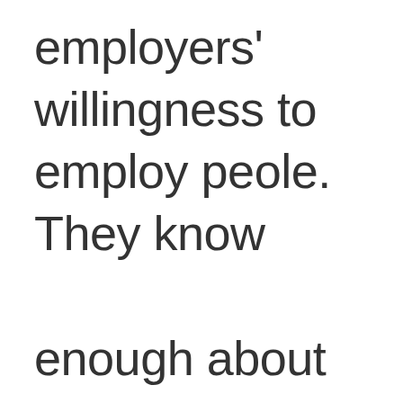employers' willingness to employ peole. They know enough about what determines